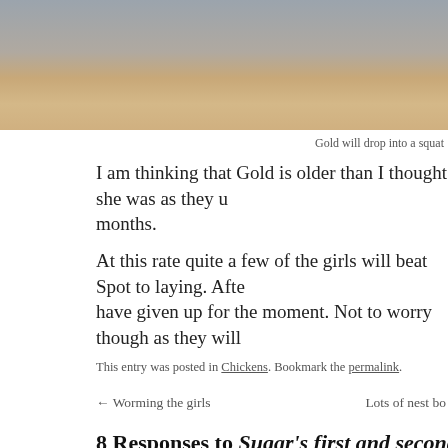[Figure (photo): Close-up photo of a chicken (hen) with reddish-brown feathers, cropped at the top of the page]
Gold will drop into a squat
I am thinking that Gold is older than I thought she was as they u months.
At this rate quite a few of the girls will beat Spot to laying. Afte have given up for the moment. Not to worry though as they will
This entry was posted in Chickens. Bookmark the permalink.
← Worming the girls
Lots of nest bo
8 Responses to Sugar's first and second eg
Jenny says: